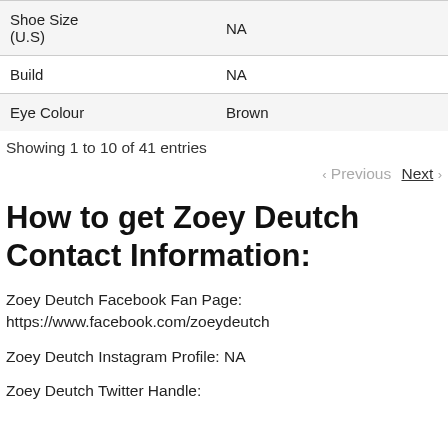| Attribute | Value |
| --- | --- |
| Shoe Size (U.S) | NA |
| Build | NA |
| Eye Colour | Brown |
Showing 1 to 10 of 41 entries
‹ Previous   Next ›
How to get Zoey Deutch Contact Information:
Zoey Deutch Facebook Fan Page: https://www.facebook.com/zoeydeutch
Zoey Deutch Instagram Profile: NA
Zoey Deutch Twitter Handle: